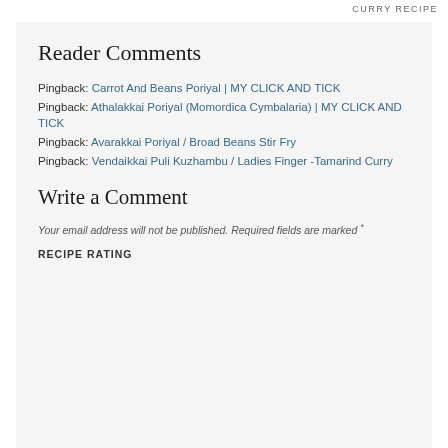CURRY RECIPE
Reader Comments
Pingback: Carrot And Beans Poriyal | MY CLICK AND TICK
Pingback: Athalakkai Poriyal (Momordica Cymbalaria) | MY CLICK AND TICK
Pingback: Avarakkai Poriyal / Broad Beans Stir Fry
Pingback: Vendaikkai Puli Kuzhambu / Ladies Finger -Tamarind Curry
Write a Comment
Your email address will not be published. Required fields are marked *
RECIPE RATING